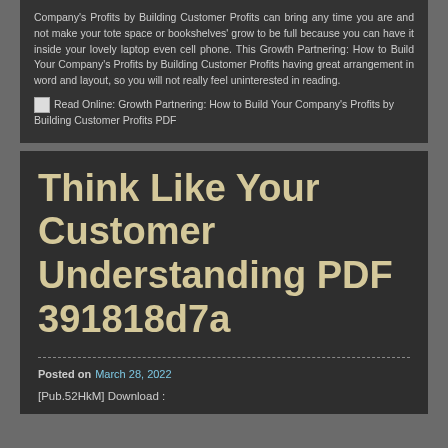Company's Profits by Building Customer Profits can bring any time you are and not make your tote space or bookshelves' grow to be full because you can have it inside your lovely laptop even cell phone. This Growth Partnering: How to Build Your Company's Profits by Building Customer Profits having great arrangement in word and layout, so you will not really feel uninterested in reading.
[Figure (other): Broken image icon followed by text: Read Online: Growth Partnering: How to Build Your Company's Profits by Building Customer Profits PDF]
Think Like Your Customer Understanding PDF 391818d7a
Posted on March 28, 2022
[Pub.52HkM] Download :